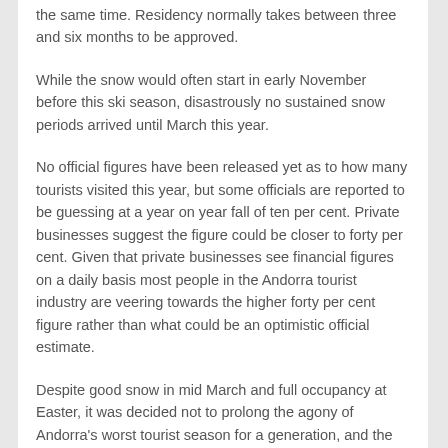the same time. Residency normally takes between three and six months to be approved.
While the snow would often start in early November before this ski season, disastrously no sustained snow periods arrived until March this year.
No official figures have been released yet as to how many tourists visited this year, but some officials are reported to be guessing at a year on year fall of ten per cent. Private businesses suggest the figure could be closer to forty per cent. Given that private businesses see financial figures on a daily basis most people in the Andorra tourist industry are veering towards the higher forty per cent figure rather than what could be an optimistic official estimate.
Despite good snow in mid March and full occupancy at Easter, it was decided not to prolong the agony of Andorra's worst tourist season for a generation, and the